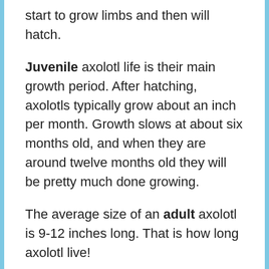start to grow limbs and then will hatch.
Juvenile axolotl life is their main growth period. After hatching, axolotls typically grow about an inch per month. Growth slows at about six months old, and when they are around twelve months old they will be pretty much done growing.
The average size of an adult axolotl is 9-12 inches long. That is how long axolotl live!
Regeneration!